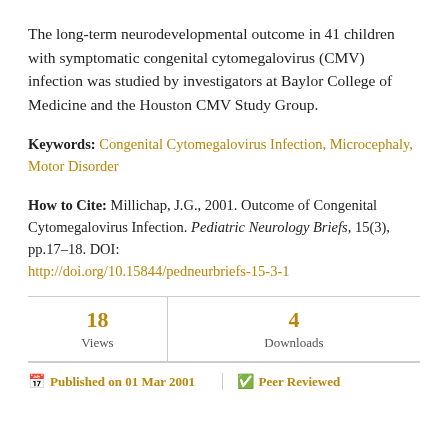The long-term neurodevelopmental outcome in 41 children with symptomatic congenital cytomegalovirus (CMV) infection was studied by investigators at Baylor College of Medicine and the Houston CMV Study Group.
Keywords: Congenital Cytomegalovirus Infection, Microcephaly, Motor Disorder
How to Cite: Millichap, J.G., 2001. Outcome of Congenital Cytomegalovirus Infection. Pediatric Neurology Briefs, 15(3), pp.17–18. DOI: http://doi.org/10.15844/pedneurbriefs-15-3-1
| Views | Downloads |
| --- | --- |
| 18 | 4 |
Published on 01 Mar 2001   Peer Reviewed